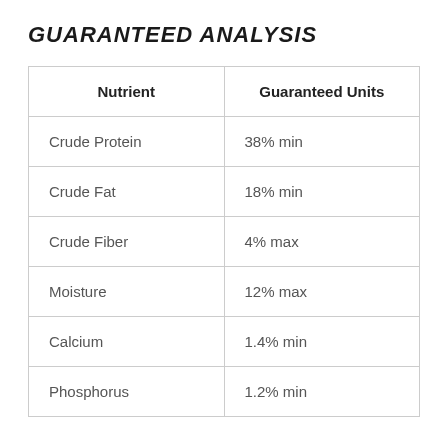GUARANTEED ANALYSIS
| Nutrient | Guaranteed Units |
| --- | --- |
| Crude Protein | 38% min |
| Crude Fat | 18% min |
| Crude Fiber | 4% max |
| Moisture | 12% max |
| Calcium | 1.4% min |
| Phosphorus | 1.2% min |